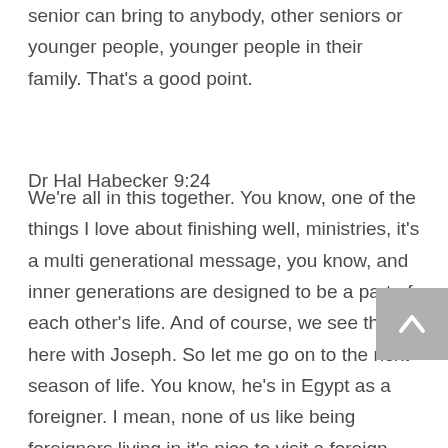senior can bring to anybody, other seniors or younger people, younger people in their family. That's a good point.
Dr Hal Habecker 9:24
We're all in this together. You know, one of the things I love about finishing well, ministries, it's a multi generational message, you know, and inner generations are designed to be a part of each other's life. And of course, we see that here with Joseph. So let me go on to the next season of life. You know, he's in Egypt as a foreigner. I mean, none of us like being foreigners living in it's nice to visit a foreign land and come home. And by the way, he serves as a picture of Jesus here again. Jesus went down to Egypt, with his parents when he was persecuted in Bethlehem. So